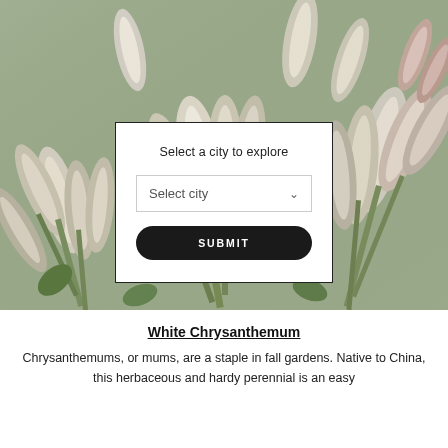[Figure (photo): Close-up photo of white chrysanthemum buds with green stems, filling the top portion of the page]
Select a city to explore
Select city
SUBMIT
White Chrysanthemum
Chrysanthemums, or mums, are a staple in fall gardens. Native to China, this herbaceous and hardy perennial is an easy